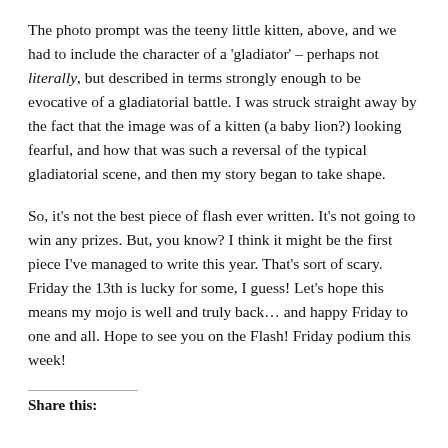The photo prompt was the teeny little kitten, above, and we had to include the character of a 'gladiator' – perhaps not literally, but described in terms strongly enough to be evocative of a gladiatorial battle. I was struck straight away by the fact that the image was of a kitten (a baby lion?) looking fearful, and how that was such a reversal of the typical gladiatorial scene, and then my story began to take shape.
So, it's not the best piece of flash ever written. It's not going to win any prizes. But, you know? I think it might be the first piece I've managed to write this year. That's sort of scary. Friday the 13th is lucky for some, I guess! Let's hope this means my mojo is well and truly back… and happy Friday to one and all. Hope to see you on the Flash! Friday podium this week!
Share this: